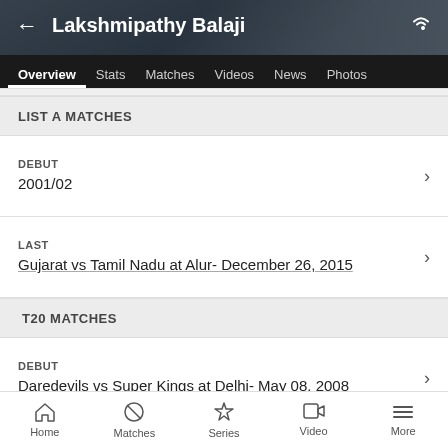Lakshmipathy Balaji
Overview  Stats  Matches  Videos  News  Photos
LIST A MATCHES
DEBUT
2001/02
LAST
Gujarat vs Tamil Nadu at Alur- December 26, 2015
T20 MATCHES
DEBUT
Daredevils vs Super Kings at Delhi- May 08, 2008
Home  Matches  Series  Video  More